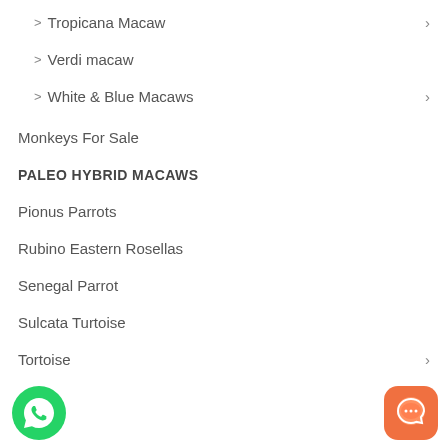> Tropicana Macaw
> Verdi macaw
> White & Blue Macaws
Monkeys For Sale
PALEO HYBRID MACAWS
Pionus Parrots
Rubino Eastern Rosellas
Senegal Parrot
Sulcata Turtoise
Tortoise
[Figure (illustration): WhatsApp chat button (green phone icon) in bottom left corner]
[Figure (illustration): Orange chat bubble icon in bottom right corner]